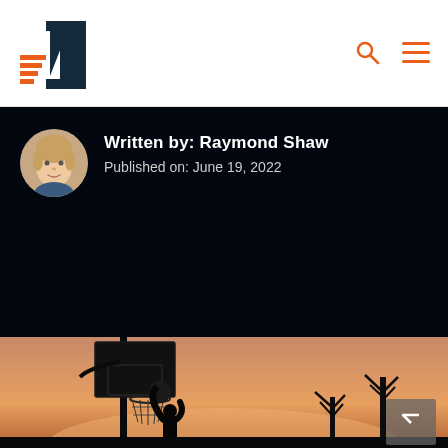Site logo header with search and menu icons
Written by: Raymond Shaw
Published on: June 19, 2022
[Figure (photo): Basketball hoop silhouette against orange sunset sky, with player reaching up to the net and bare trees in background]